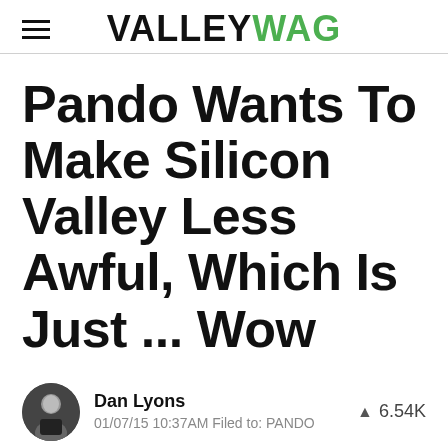VALLEYWAG
Pando Wants To Make Silicon Valley Less Awful, Which Is Just ... Wow
Dan Lyons
01/07/15 10:37AM Filed to: PANDO
6.54K